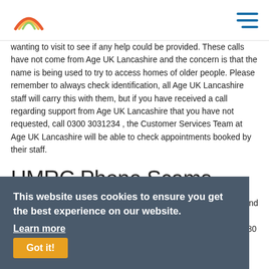Age UK Lancashire — navigation header with logo and hamburger menu
wanting to visit to see if any help could be provided. These calls have not come from Age UK Lancashire and the concern is that the name is being used to try to access homes of older people. Please remember to always check identification, all Age UK Lancashire staff will carry this with them, but if you have received a call regarding support from Age UK Lancashire that you have not requested, call 0300 3031234 , the Customer Services Team at Age UK Lancashire will be able to check appointments booked by their staff.
HMRC Phone Scams
A caller claimed the recording was from Revenue and Customs and that before legal enforcement action was taken, which had been filed against the recipient's name, they should phone 02071830380 immediately. A similar very pushy automated call received by a Burnley resident on their mobile phone alleging to be from the HMRC stated that if the recipient did not press '1' they would be arrested shortly. Advice from HMRC on how to deal with any suspicious contact that you
This website uses cookies to ensure you get the best experience on our website. Learn more Got it!